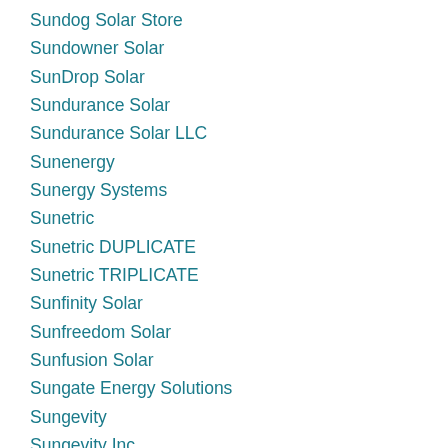Sundog Solar Store
Sundowner Solar
SunDrop Solar
Sundurance Solar
Sundurance Solar LLC
Sunenergy
Sunergy Systems
Sunetric
Sunetric DUPLICATE
Sunetric TRIPLICATE
Sunfinity Solar
Sunfreedom Solar
Sunfusion Solar
Sungate Energy Solutions
Sungevity
Sungevity Inc.
SunGreen Systems
SunKey Energy
Sunlight Solar